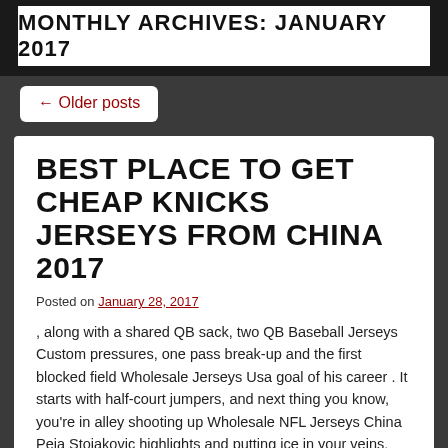MONTHLY ARCHIVES: JANUARY 2017
← Older posts
BEST PLACE TO GET CHEAP KNICKS JERSEYS FROM CHINA 2017
Posted on January 28, 2017
, along with a shared QB sack, two QB Baseball Jerseys Custom pressures, one pass break-up and the first blocked field Wholesale Jerseys Usa goal of his career . It starts with half-court jumpers, and next thing you know, you're in alley shooting up Wholesale NFL Jerseys China Peja Stojakovic highlights and putting ice in your veins. And the rest, as they say, was history. It wasn't your typical Schwartz goal, but it was a big one as he tipped a Perron rip from the point. He's had 12 with 20-plus points and just five single-digits. On the other side, the 49ers entered the game without their top three